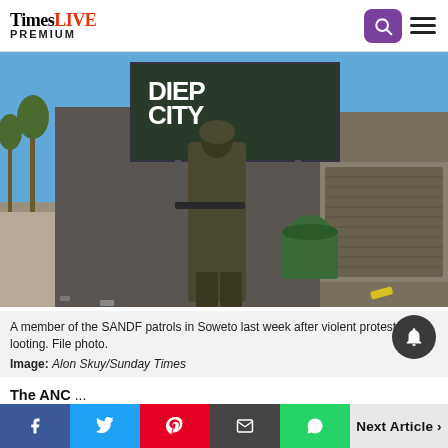TimesLIVE PREMIUM
[Figure (photo): A soldier in full military camouflage gear patrols a deserted street in Soweto. In the background is a billboard advertising 'Diep City' TV show. Rubbish and debris litter the ground.]
A member of the SANDF patrols in Soweto last week after violent protests and looting. File photo.
Image: Alon Skuy/Sunday Times
The ANC ...